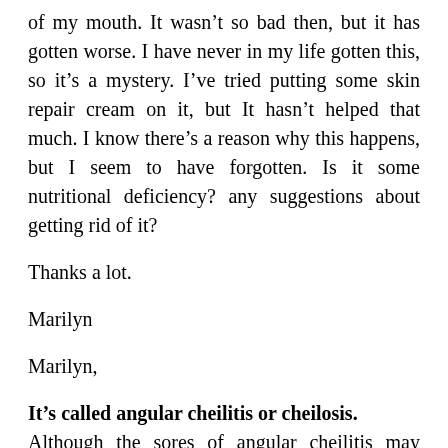of my mouth. It wasn’t so bad then, but it has gotten worse. I have never in my life gotten this, so it’s a mystery. I’ve tried putting some skin repair cream on it, but It hasn’t helped that much. I know there’s a reason why this happens, but I seem to have forgotten. Is it some nutritional deficiency? any suggestions about getting rid of it?
Thanks a lot.
Marilyn
Marilyn,
It’s called angular cheilitis or cheilosis.
Although the sores of angular cheilitis may become infected by the fungus Candida albicans (thrush), or other pathogens, studies have linked